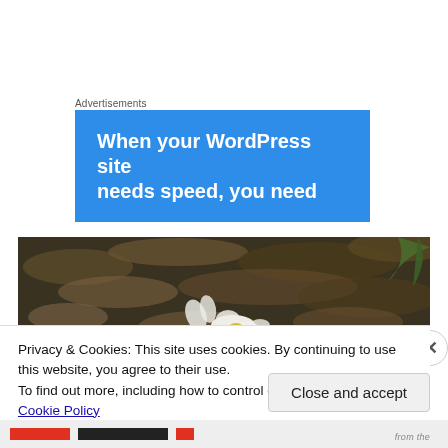Advertisements
[Figure (other): Blue advertisement banner reading 'When your WordPress site needs speed, you need']
[Figure (photo): Photograph of small white flowers with yellow centers growing among dead leaves and grass on the ground]
Privacy & Cookies: This site uses cookies. By continuing to use this website, you agree to their use.
To find out more, including how to control cookies, see here: Cookie Policy
Close and accept